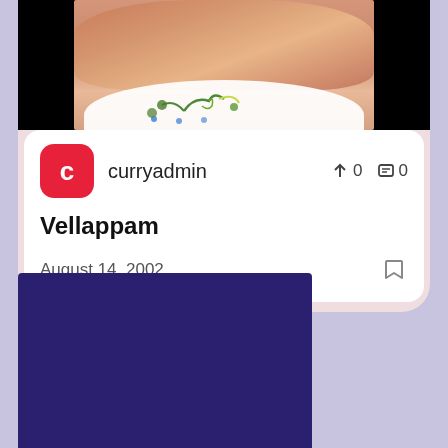[Figure (screenshot): Food photo showing Vellappam (Indian rice pancake) on a decorated plate, against a black background.]
curryadmin
↑ 0
0
Vellappam
August 14, 2002
[Figure (photo): Dark navy/indigo colored image at bottom of page, partially visible.]